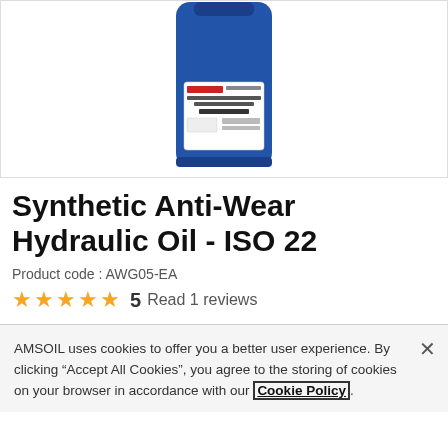[Figure (photo): Blue cylindrical container/jug of AMSOIL Synthetic Anti-Wear Hydraulic Oil ISO-22 (AWG), showing the label on the front, cropped at top]
Synthetic Anti-Wear Hydraulic Oil - ISO 22
Product code : AWG05-EA
★★★★★ 5  Read 1 reviews
AMSOIL uses cookies to offer you a better user experience. By clicking "Accept All Cookies", you agree to the storing of cookies on your browser in accordance with our Cookie Policy.